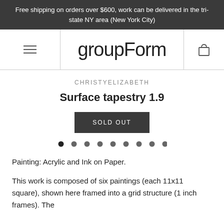Free shipping on orders over $600, work can be delivered in the tri-state NY area (New York City)
groupForm
CHRISTYELIZABETH
Surface tapestry 1.9
SOLD OUT
[Figure (other): Carousel dot navigation with 9 dots, first dot active]
Painting: Acrylic and Ink on Paper.
This work is composed of six paintings (each 11x11 square), shown here framed into a grid structure (1 inch frames). The